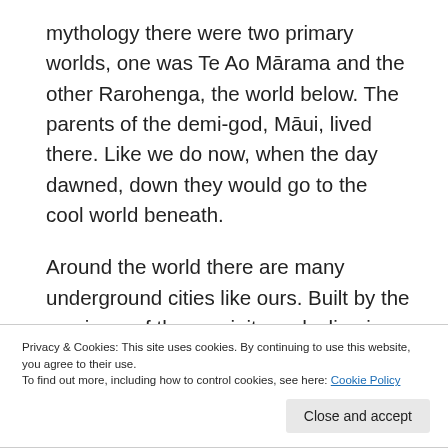mythology there were two primary worlds, one was Te Ao Mārama and the other Rarohenga, the world below. The parents of the demi-god, Māui, lived there. Like we do now, when the day dawned, down they would go to the cool world beneath.
Around the world there are many underground cities like ours. Built by the survivors of the precipitous decline in the world's populations. But even now there are still too many people for the cities to service. And so while the cities still
Privacy & Cookies: This site uses cookies. By continuing to use this website, you agree to their use.
To find out more, including how to control cookies, see here: Cookie Policy